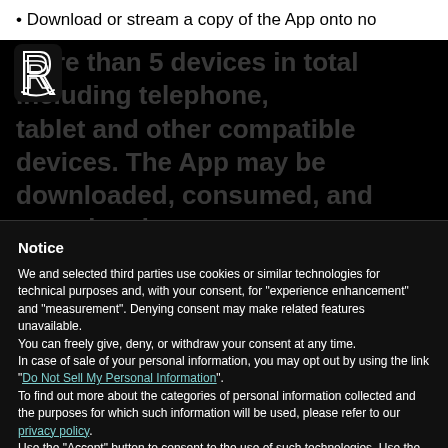• Download or stream a copy of the App onto no more than 5 devices in total including telephone, tablet and other compatible devices. The App may be downloaded, consumed, and stored and installed at the App onto the applicable main device.
Notice
We and selected third parties use cookies or similar technologies for technical purposes and, with your consent, for "experience enhancement" and "measurement". Denying consent may make related features unavailable. You can freely give, deny, or withdraw your consent at any time.
In case of sale of your personal information, you may opt out by using the link "Do Not Sell My Personal Information".
To find out more about the categories of personal information collected and the purposes for which such information will be used, please refer to our privacy policy.
Use the "Accept" button to consent to the use of such technologies. Use the "Reject" button to continue without accepting.
Reject
Accept
Learn more and customise